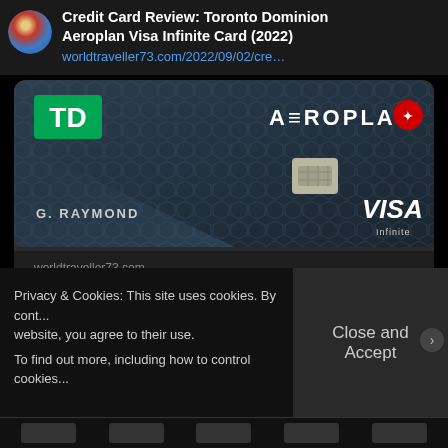[Figure (screenshot): Social media post showing a credit card review tweet with title 'Credit Card Review: Toronto Dominion Aeroplan Visa Infinite Card (2022)' and a link to worldtraveller73.com/2022/09/02/cre...]
Credit Card Review: Toronto Dominion Aeroplan Visa Infinite Card (2022)
worldtraveller73.com/2022/09/02/cre...
[Figure (photo): TD Aeroplan Visa Infinite credit card image showing TD logo, Aeroplan logo with Air Canada maple leaf, G. RAYMOND cardholder name, chip, and VISA Infinite branding on dark geometric background]
worldtraveller73.com
Privacy & Cookies: This site uses cookies. By cont... website, you agree to their use. To find out more, including how to control cookies...
Close and Accept